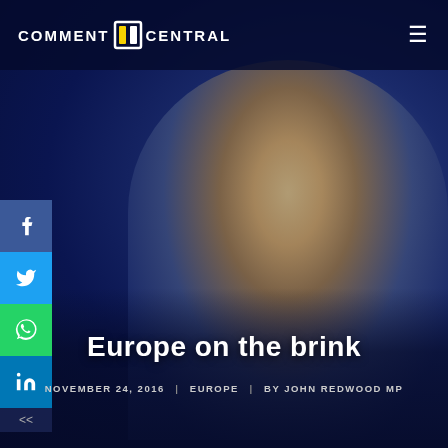COMMENT CENTRAL
[Figure (photo): Hero background photograph of a blond woman speaking at a podium, against a blue-toned blurred background]
Europe on the brink
NOVEMBER 24, 2016 | EUROPE | BY JOHN REDWOOD MP